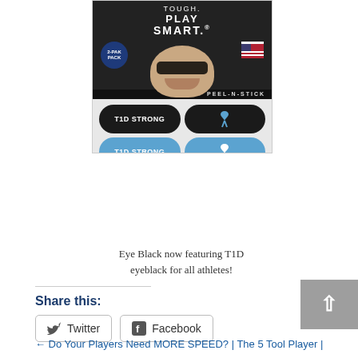[Figure (photo): Product image of T1D Strong eyeblack peel-n-stick strips showing two black and two blue versions with T1D STRONG text and ribbon icons, with a smiling person wearing glasses at the top]
Eye Black now featuring T1D eyeblack for all athletes!
Share this:
Twitter   Facebook
← Do Your Players Need MORE SPEED? | The 5 Tool Player |